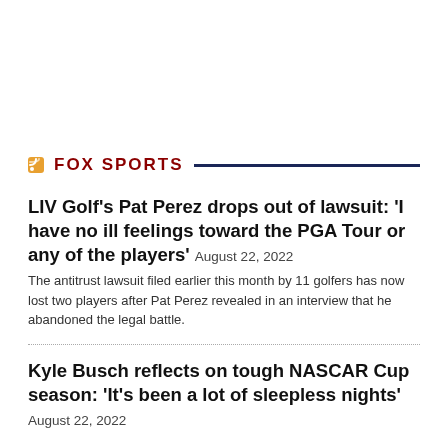FOX SPORTS
LIV Golf's Pat Perez drops out of lawsuit: 'I have no ill feelings toward the PGA Tour or any of the players' August 22, 2022
The antitrust lawsuit filed earlier this month by 11 golfers has now lost two players after Pat Perez revealed in an interview that he abandoned the legal battle.
Kyle Busch reflects on tough NASCAR Cup season: 'It's been a lot of sleepless nights' August 22, 2022